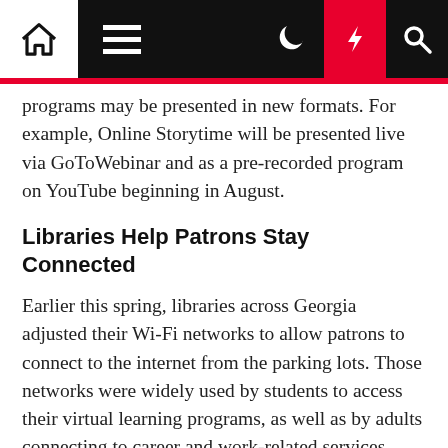Navigation bar with home, hamburger menu, moon, lightning, and search icons
programs may be presented in new formats. For example, Online Storytime will be presented live via GoToWebinar and as a pre-recorded program on YouTube beginning in August.
Libraries Help Patrons Stay Connected
Earlier this spring, libraries across Georgia adjusted their Wi-Fi networks to allow patrons to connect to the internet from the parking lots. Those networks were widely used by students to access their virtual learning programs, as well as by adults connecting to career and work-related services.
“Many students and adults in our community depend on the library for internet access,” Lyle said. “Wi-Fi will continue to be available to patrons in their vehicles in our parking lots from 7 a.m. to 9 p.m.